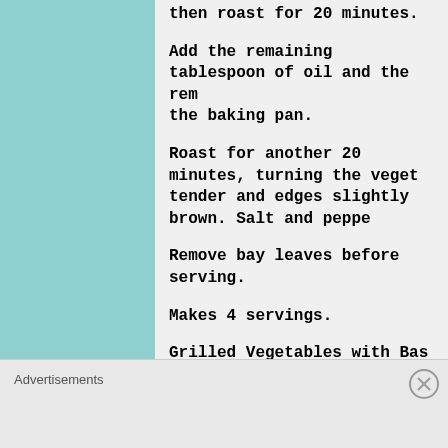then roast for 20 minutes.
Add the remaining tablespoon of oil and the rem the baking pan.
Roast for another 20 minutes, turning the vege tender and edges slightly brown. Salt and peppe
Remove bay leaves before serving.
Makes 4 servings.
Grilled Vegetables with Bas
Makes 8 servings
Ingredients
Advertisements